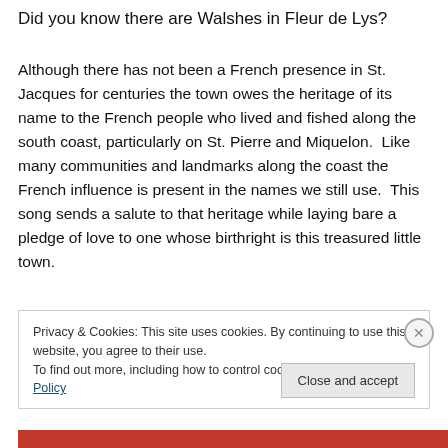Did you know there are Walshes in Fleur de Lys?
Although there has not been a French presence in St. Jacques for centuries the town owes the heritage of its name to the French people who lived and fished along the south coast, particularly on St. Pierre and Miquelon.  Like many communities and landmarks along the coast the French influence is present in the names we still use.  This song sends a salute to that heritage while laying bare a pledge of love to one whose birthright is this treasured little town.
Privacy & Cookies: This site uses cookies. By continuing to use this website, you agree to their use.
To find out more, including how to control cookies, see here: Cookie Policy
Close and accept